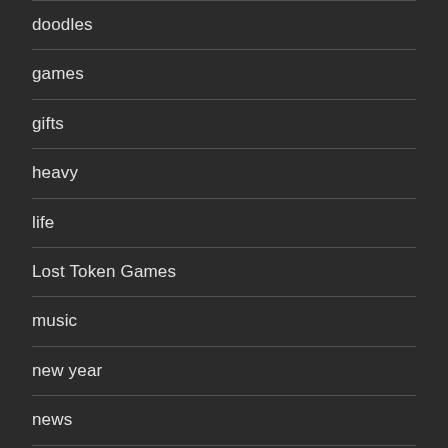doodles
games
gifts
heavy
life
Lost Token Games
music
new year
news
notebooks
points system